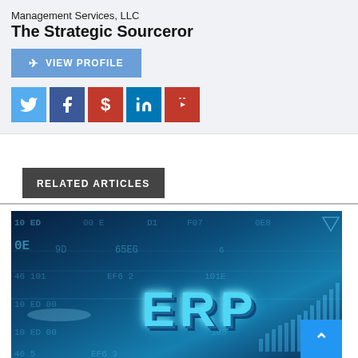Management Services, LLC
The Strategic Sourceror
[Figure (other): Blue VIEW PROFILE button with arrow icon and 5 social media icons: Twitter (blue bird), Facebook (blue f), Dollar sign (red $), LinkedIn (teal in), YouTube (red play button)]
RELATED ARTICLES
[Figure (photo): ERP technology concept image showing blue digital data code background with large 3D block letters 'ERP' in the center, various hex codes and numbers scattered across the image]